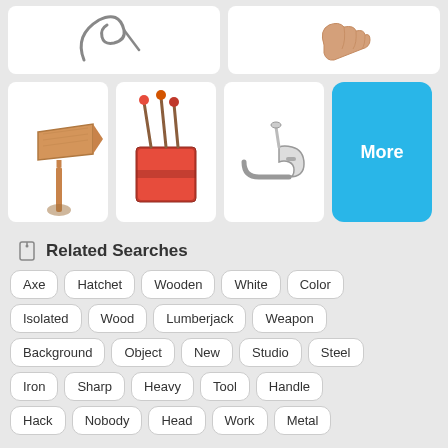[Figure (illustration): A white card showing a curved needle/hook illustration]
[Figure (illustration): A white card showing a finger/thumb illustration]
[Figure (illustration): A white card showing a wooden directional sign post]
[Figure (illustration): A white card showing a box of matches with match sticks]
[Figure (illustration): A white card showing a smoking pipe]
[Figure (other): Blue More button card]
Related Searches
Axe
Hatchet
Wooden
White
Color
Isolated
Wood
Lumberjack
Weapon
Background
Object
New
Studio
Steel
Iron
Sharp
Heavy
Tool
Handle
Hack
Nobody
Head
Work
Metal